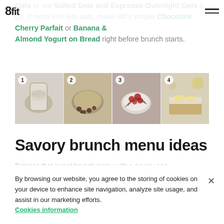8fit logo and hamburger menu
Oats or our Salted Date and Espresso Overnight Oats a go. If mom isn't into oats, make 8fit's simple Chocolate Cherry Parfait or Banana & Almond Yogurt on Bread right before brunch starts.
[Figure (photo): Four numbered food photos side by side: 1) overnight oats in a jar, 2) granola bowl with coffee beans, 3) chocolate cherry parfait bowl, 4) banana almond yogurt on bread]
Savory brunch menu ideas
Balance that sweet brunch menu with a savory one. Our 8fit meal plans include dishes like Asparagus and Egg Scramble, Mushroom and Baked Egg, Mini Mushroom and Spinach Frittatas and Kale, Tomato and Poached egg on Bread. Not moms...
By browsing our website, you agree to the storing of cookies on your device to enhance site navigation, analyze site usage, and assist in our marketing efforts.
Cookies information